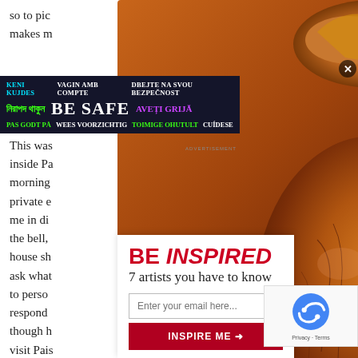so to pic...ways makes m...d asked...ley Park. This was...on this morning...e side private e...ally let me in di...ring of the bell, ...and house sh...him to ask what...ted him to perso...responds...son though h...ould visit Pais...many oth...
[Figure (photo): Wooden sculpture resembling an organic rounded form with intricate carved textures and cracks]
[Figure (infographic): BE SAFE multilingual safety banner with text in multiple languages including Keni Kujdes, Vagin amb compte, Dbejte na svou bezpecnost, Bengali text, Be Safe, Aveti grija, Pas godt pa, Wees voorzichtig, Toimige ohutult, Cuidese]
[Figure (screenshot): BE INSPIRED popup modal with subtitle '7 artists you have to know', email input field, and INSPIRE ME button]
BE INSPIRED
7 artists you have to know
Enter your email here...
INSPIRE ME →